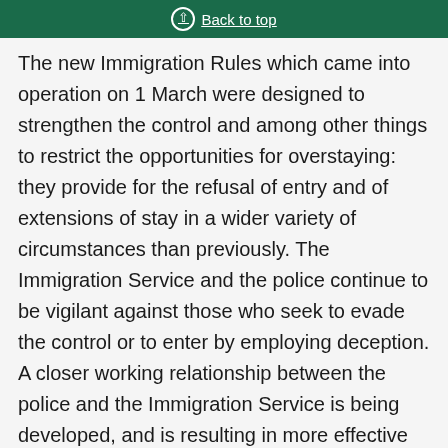Back to top
The new Immigration Rules which came into operation on 1 March were designed to strengthen the control and among other things to restrict the opportunities for overstaying: they provide for the refusal of entry and of extensions of stay in a wider variety of circumstances than previously. The Immigration Service and the police continue to be vigilant against those who seek to evade the control or to enter by employing deception. A closer working relationship between the police and the Immigration Service is being developed, and is resulting in more effective measures to detect illegal entrants and over-stayers. The action being taken by the Government to deal firmly with those found to have offended against the immigration laws is a deterrent to potential offenders...